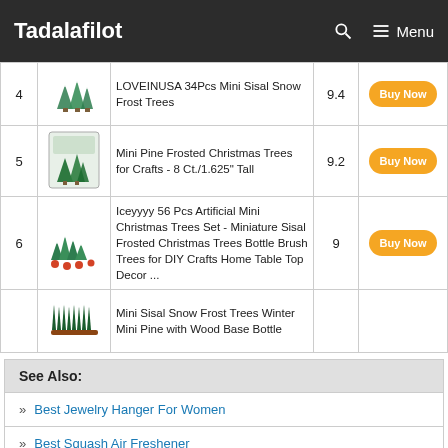Tadalafilot — Menu
| # | Image | Product | Score | Action |
| --- | --- | --- | --- | --- |
| 4 | [image] | LOVEINUSA 34Pcs Mini Sisal Snow Frost Trees | 9.4 | Buy Now |
| 5 | [image] | Mini Pine Frosted Christmas Trees for Crafts - 8 Ct./1.625" Tall | 9.2 | Buy Now |
| 6 | [image] | Iceyyyy 56 Pcs Artificial Mini Christmas Trees Set - Miniature Sisal Frosted Christmas Trees Bottle Brush Trees for DIY Crafts Home Table Top Decor ... | 9 | Buy Now |
|  | [image] | Mini Sisal Snow Frost Trees Winter Mini Pine with Wood Base Bottle |  |  |
See Also:
Best Jewelry Hanger For Women
Best Squash Air Freshener
Best Car Headrest Pillow